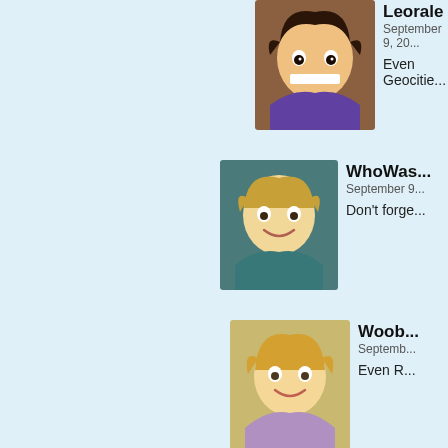[Figure (illustration): Avatar of user Leorale - cartoon character with dark curly hair and big smile]
Leorale
September 9, 20...
Even Geocitie...
[Figure (illustration): Avatar of user WhoWas - cartoon character with blonde wavy hair]
WhoWas...
September 9...
Don't forge...
[Figure (illustration): Avatar of user Woob - cartoon character with blonde hair and glasses]
Woob...
Septemb...
Even R...
[Figure (illustration): Bicycle Bill logo - colorful cartoon bird on a bicycle]
Bicycle B...
September 9...
And Tripod...
[Figure (illustration): Avatar of user ??? - person with dark hair and glasses holding inhaler]
???
September...
No, no...
Jurras...